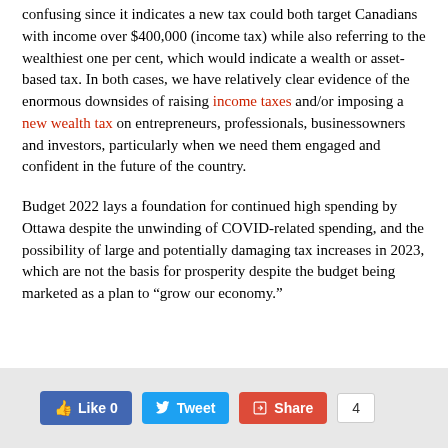confusing since it indicates a new tax could both target Canadians with income over $400,000 (income tax) while also referring to the wealthiest one per cent, which would indicate a wealth or asset-based tax. In both cases, we have relatively clear evidence of the enormous downsides of raising income taxes and/or imposing a new wealth tax on entrepreneurs, professionals, businessowners and investors, particularly when we need them engaged and confident in the future of the country.
Budget 2022 lays a foundation for continued high spending by Ottawa despite the unwinding of COVID-related spending, and the possibility of large and potentially damaging tax increases in 2023, which are not the basis for prosperity despite the budget being marketed as a plan to “grow our economy.”
[Figure (other): Social media sharing buttons: Like 0 (Facebook), Tweet (Twitter), Share (Google+/share), and a count box showing 4]